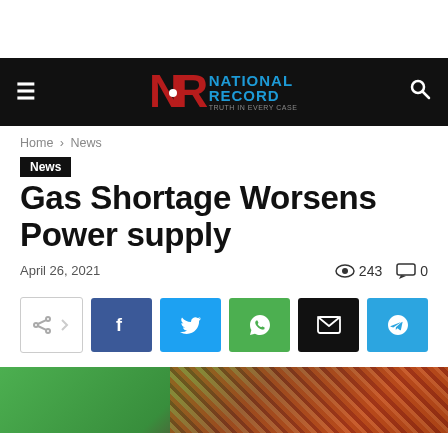National Record
Home › News
News
Gas Shortage Worsens Power supply
April 26, 2021   243   0
[Figure (infographic): Social share buttons: share outline, Facebook, Twitter, WhatsApp, Email, Telegram]
[Figure (photo): Partial photo showing green fabric and patterned textile at bottom of page]